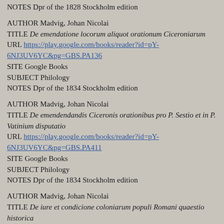NOTES Dpr of the 1828 Stockholm edition
AUTHOR Madvig, Johan Nicolai
TITLE De emendatione locorum aliquot orationum Ciceroniarum
URL https://play.google.com/books/reader?id=pY-6NJ3UV6YC&pg=GBS.PA136
SITE Google Books
SUBJECT Philology
NOTES Dpr of the 1834 Stockholm edition
AUTHOR Madvig, Johan Nicolai
TITLE De emendendandis Ciceronis orationibus pro P. Sestio et in P. Vatinium disputatio
URL https://play.google.com/books/reader?id=pY-6NJ3UV6YC&pg=GBS.PA411
SITE Google Books
SUBJECT Philology
NOTES Dpr of the 1834 Stockholm edition
AUTHOR Madvig, Johan Nicolai
TITLE De iure et condicione coloniarum populi Romani quaestio historica
URL https://play.google.com/books/reader?id=pY-6NJ3UV6YC&pg=GBS.PA208
SITE Google Books